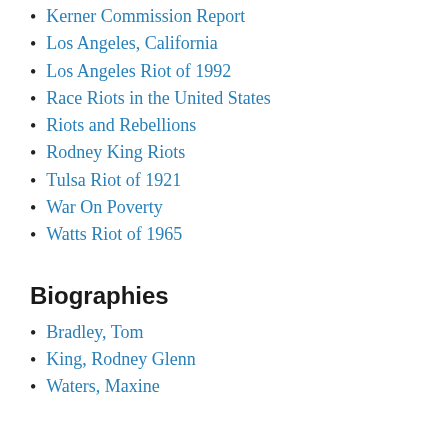Kerner Commission Report
Los Angeles, California
Los Angeles Riot of 1992
Race Riots in the United States
Riots and Rebellions
Rodney King Riots
Tulsa Riot of 1921
War On Poverty
Watts Riot of 1965
Biographies
Bradley, Tom
King, Rodney Glenn
Waters, Maxine